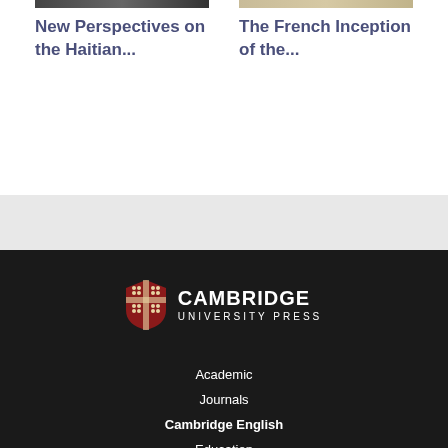[Figure (photo): Book cover thumbnail - dark/black and white image, top of card for 'New Perspectives on the Haitian...']
New Perspectives on the Haitian...
[Figure (photo): Book cover thumbnail - light beige/cream image, top of card for 'The French Inception of the...']
The French Inception of the...
[Figure (logo): Cambridge University Press shield logo with red and gold heraldic design]
Academic
Journals
Cambridge English
Education